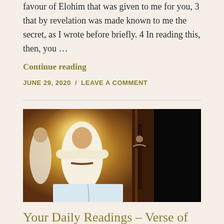favour of Elohim that was given to me for you, 3 that by revelation was made known to me the secret, as I wrote before briefly. 4 In reading this, then, you …
Continue reading
JUNE 29, 2020 / LEAVE A COMMENT
[Figure (photo): Religious painting depicting Jesus Christ in white robes with arms outstretched over an open book, with other figures and a cross in the background. Right portion of image is very dark/black.]
Your Daily Readings – Verse of the Day – John 14:11 – The Scriptures by